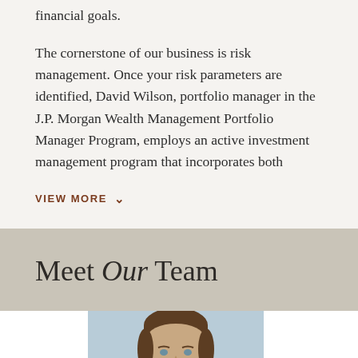financial goals.
The cornerstone of our business is risk management. Once your risk parameters are identified, David Wilson, portfolio manager in the J.P. Morgan Wealth Management Portfolio Manager Program, employs an active investment management program that incorporates both
VIEW MORE >
Meet Our Team
[Figure (photo): Professional headshot of a man with brown hair, partially visible, against a light blue background, shown from shoulders up]